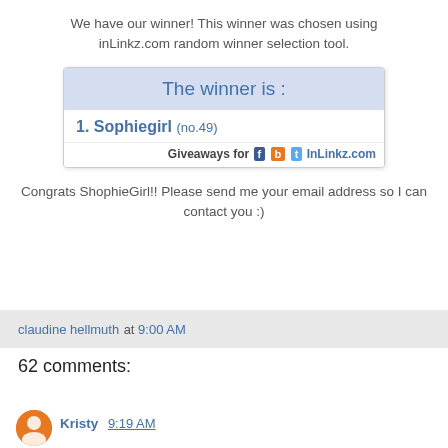We have our winner! This winner was chosen using inLinkz.com random winner selection tool.
[Figure (screenshot): inLinkz.com giveaway winner widget showing 'The winner is :' with '1. Sophiegirl (no.49)' and Giveaways for [Facebook][Blogger][Twitter] InLinkz.com footer]
Congrats ShophieGirl!! Please send me your email address so I can contact you :)
claudine hellmuth at 9:00 AM
62 comments:
Kristy 9:19 AM